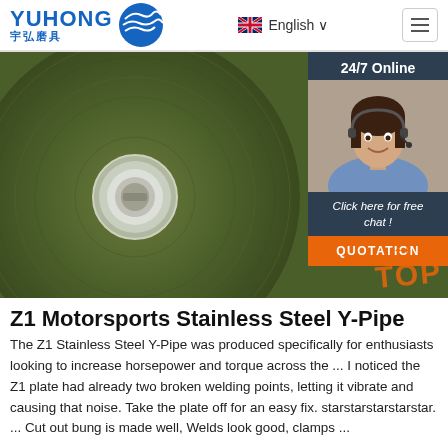YUHONG 宇弘磨具 | English
[Figure (photo): Close-up photo of a green grinding/cutting disc with a silver center hole, and a chat widget overlay in the top-right showing '24/7 Online', a customer service agent, 'Click here for free chat!', and a QUOTATION button.]
Z1 Motorsports Stainless Steel Y-Pipe
The Z1 Stainless Steel Y-Pipe was produced specifically for enthusiasts looking to increase horsepower and torque across the ... I noticed the Z1 plate had already two broken welding points, letting it vibrate and causing that noise. Take the plate off for an easy fix. starstarstarstarstar. ... Cut out bung is made well, Welds look good, clamps ...